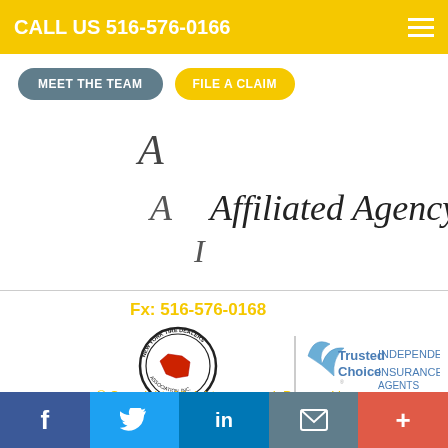CALL US 516-576-0166
MEET THE TEAM
FILE A CLAIM
[Figure (logo): Affiliated Agency Inc. script logo with stylized letter A]
Fx: 516-576-0168
[Figure (logo): New York Tire Dealers Association Inc. circular badge logo and Trusted Choice Independent Insurance Agents logo]
© Copyright. All rights reserved. Powered by
[Figure (logo): Accessibility icon - circular blue icon with person figure]
f  t  in  email  +